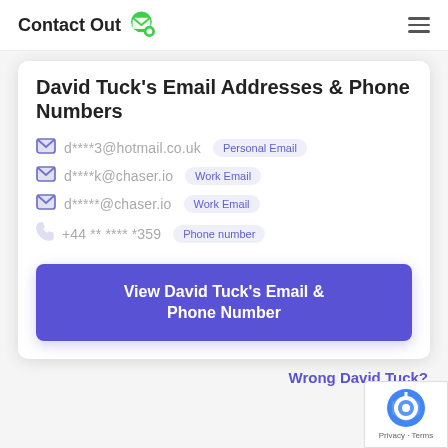ContactOut
David Tuck's Email Addresses & Phone Numbers
d****3@hotmail.co.uk  Personal Email
d****k@chaser.io  Work Email
d*****@chaser.io  Work Email
+44 ** **** *359  Phone number
View David Tuck's Email & Phone Number
Wrong David Tuck?